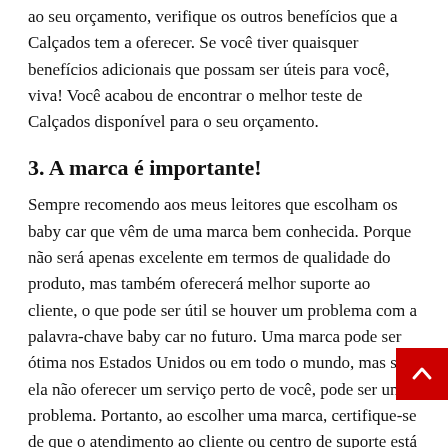ao seu orçamento, verifique os outros benefícios que a Calçados tem a oferecer. Se você tiver quaisquer benefícios adicionais que possam ser úteis para você, viva! Você acabou de encontrar o melhor teste de Calçados disponível para o seu orçamento.
3. A marca é importante!
Sempre recomendo aos meus leitores que escolham os baby car que vêm de uma marca bem conhecida. Porque não será apenas excelente em termos de qualidade do produto, mas também oferecerá melhor suporte ao cliente, o que pode ser útil se houver um problema com a palavra-chave baby car no futuro. Uma marca pode ser ótima nos Estados Unidos ou em todo o mundo, mas se ela não oferecer um serviço perto de você, pode ser um problema. Portanto, ao escolher uma marca, certifique-se de que o atendimento ao cliente ou centro de suporte está próximo.